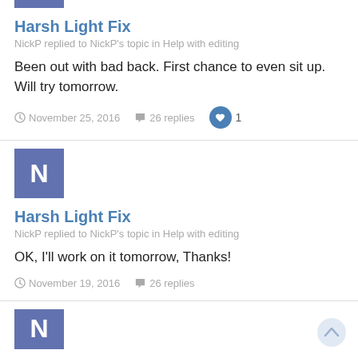[Figure (illustration): Partial blue square avatar for NickP at top of page]
Harsh Light Fix
NickP replied to NickP's topic in Help with editing
Been out with bad back. First chance to even sit up. Will try tomorrow.
November 25, 2016   26 replies   1
[Figure (illustration): Blue square avatar with letter N for NickP]
Harsh Light Fix
NickP replied to NickP's topic in Help with editing
OK, I'll work on it tomorrow, Thanks!
November 19, 2016   26 replies
[Figure (illustration): Blue square avatar with letter N for NickP (partial, cut off at bottom)]
Harsh Light Fix